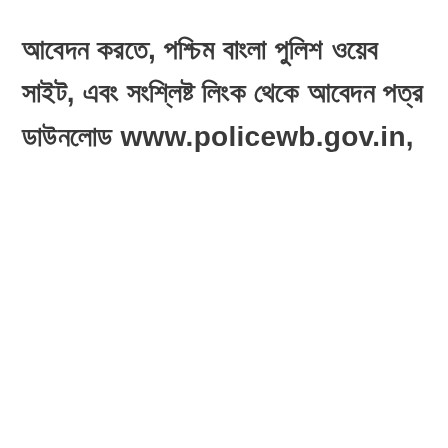আবেদন করতে, পশ্চিম বাংলা পুলিশ ওয়েব সাইট, এবং সংশ্লিষ্ট লিংক থেকে আবেদন পত্র ডাউনলোড www.policewb.gov.in,